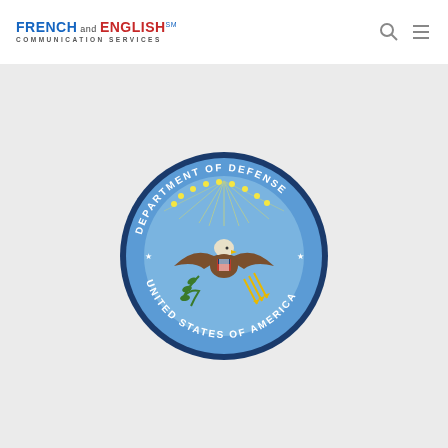FRENCH and ENGLISH℠ COMMUNICATION SERVICES
[Figure (logo): Department of Defense seal — circular blue seal with bald eagle holding olive branch and arrows, surrounded by text 'DEPARTMENT OF DEFENSE · UNITED STATES OF AMERICA', with gold stars at top.]